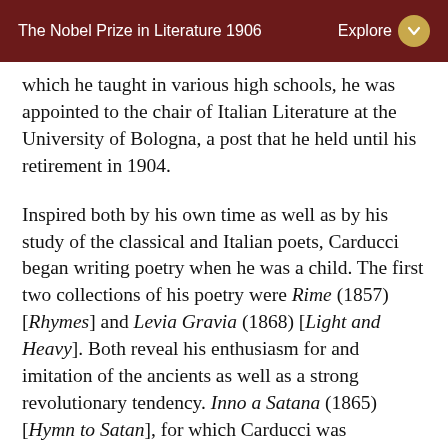The Nobel Prize in Literature 1906
which he taught in various high schools, he was appointed to the chair of Italian Literature at the University of Bologna, a post that he held until his retirement in 1904.
Inspired both by his own time as well as by his study of the classical and Italian poets, Carducci began writing poetry when he was a child. The first two collections of his poetry were Rime (1857) [Rhymes] and Levia Gravia (1868) [Light and Heavy]. Both reveal his enthusiasm for and imitation of the ancients as well as a strong revolutionary tendency. Inno a Satana (1865) [Hymn to Satan], for which Carducci was considered to be a «notorious praiser of Satan», is the full expression of his free thought and of modern ideas, inventions, and revolutions. Giambi ed epodi (1882) [Iambics and Epodes], a